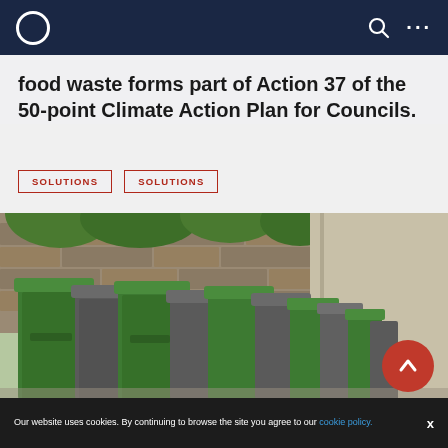Navigation bar with logo, search, and menu icons
food waste forms part of Action 37 of the 50-point Climate Action Plan for Councils.
SOLUTIONS
SOLUTIONS
[Figure (photo): Row of green and grey wheelie bins lined up along a stone wall on a pavement/path, with greenery visible above the wall]
Our website uses cookies. By continuing to browse the site you agree to our cookie policy.